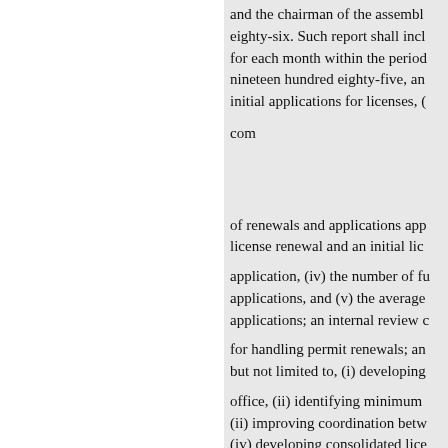and the chairman of the assembly eighty-six. Such report shall incl for each month within the period nineteen hundred eighty-five, an initial applications for licenses, ( com of renewals and applications app license renewal and an initial lice application, (iv) the number of fu applications, and (v) the average applications; an internal review c for handling permit renewals; an but not limited to, (i) developing office, (ii) identifying minimum (ii) improving coordination betw (iv) developing consolidated lice for license renewals to avoid resu limits for action license applications, (vii) review